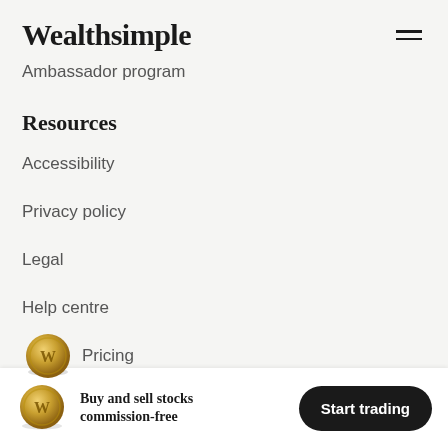Wealthsimple
Ambassador program
Resources
Accessibility
Privacy policy
Legal
Help centre
Pricing
Buy and sell stocks commission-free
Start trading